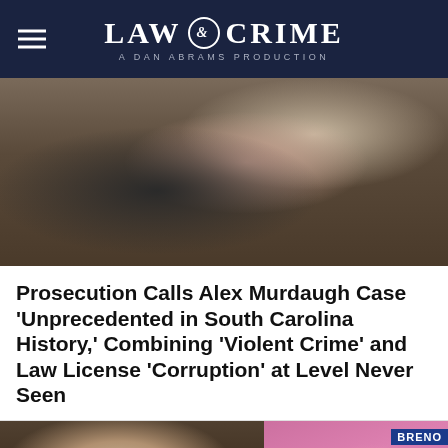LAW & CRIME — A DAN ABRAMS PRODUCTION
[Figure (photo): Courtroom photo showing two men, one bald man with head bowed in his hand, another man in a pink checkered shirt behind him, seated in courtroom benches]
Prosecution Calls Alex Murdaugh Case 'Unprecedented in South Carolina History,' Combining 'Violent Crime' and Law License 'Corruption' at Level Never Seen
[Figure (photo): Split image: left side shows a man with blonde/grey hair against a dark background; right side shows a pink/magenta toned image with text partially visible reading 'BRENO']